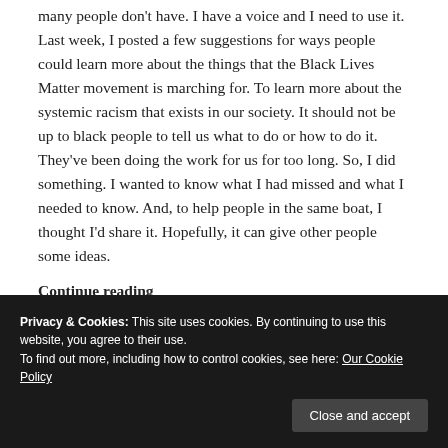many people don't have. I have a voice and I need to use it. Last week, I posted a few suggestions for ways people could learn more about the things that the Black Lives Matter movement is marching for. To learn more about the systemic racism that exists in our society. It should not be up to black people to tell us what to do or how to do it. They've been doing the work for us for too long. So, I did something. I wanted to know what I had missed and what I needed to know. And, to help people in the same boat, I thought I'd share it. Hopefully, it can give other people some ideas.
Continue reading
12 June, 2020 · Tagged Amplify Melanated Voices, anti-racism, Black Lives Matter, books, books recommendations, children's books, documentary, film recommendations, films, Friday Favourites, teenage, non-fiction, YA fiction · 1 Comment
Privacy & Cookies: This site uses cookies. By continuing to use this website, you agree to their use. To find out more, including how to control cookies, see here: Our Cookie Policy